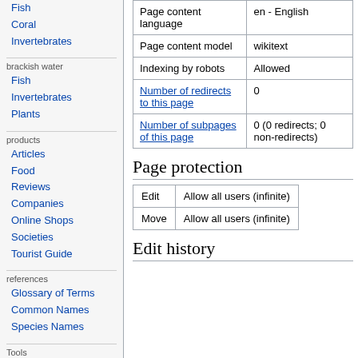Fish
Coral
Invertebrates
brackish water
Fish
Invertebrates
Plants
products
Articles
Food
Reviews
Companies
Online Shops
Societies
Tourist Guide
references
Glossary of Terms
Common Names
Species Names
Tools
|  |  |
| --- | --- |
| Page content language | en - English |
| Page content model | wikitext |
| Indexing by robots | Allowed |
| Number of redirects to this page | 0 |
| Number of subpages of this page | 0 (0 redirects; 0 non-redirects) |
Page protection
| Edit | Move |
| --- | --- |
| Edit | Allow all users (infinite) |
| Move | Allow all users (infinite) |
Edit history